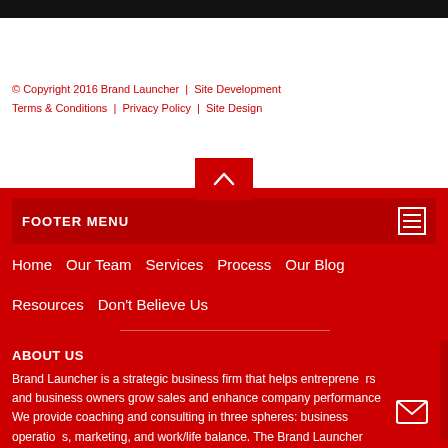[Figure (other): Black navigation bar at top of page]
© Copyright 2016 Brand Launcher  |  Site Development
Terms & Conditions  |  Privacy Policy  |  Site Design
[Figure (other): Red upward-pointing arrow button / scroll-to-top button]
FOOTER MENU
Home
Our Team
Services
Process
Our Blog
Resources
Don't Believe Us
ABOUT US
Brand Launcher is a strategic business firm that helps entrepreneurs and business owners grow sales and enhance company performance. We provide coaching and consulting in three spheres: business operations, marketing, and work/life balance. The Brand Launcher team is